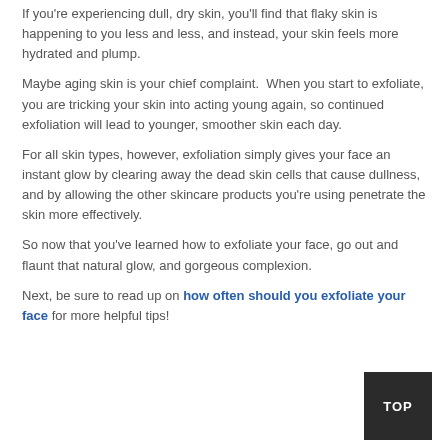If you're experiencing dull, dry skin, you'll find that flaky skin is happening to you less and less, and instead, your skin feels more hydrated and plump.
Maybe aging skin is your chief complaint. When you start to exfoliate, you are tricking your skin into acting young again, so continued exfoliation will lead to younger, smoother skin each day.
For all skin types, however, exfoliation simply gives your face an instant glow by clearing away the dead skin cells that cause dullness, and by allowing the other skincare products you're using penetrate the skin more effectively.
So now that you've learned how to exfoliate your face, go out and flaunt that natural glow, and gorgeous complexion.
Next, be sure to read up on how often should you exfoliate your face for more helpful tips!